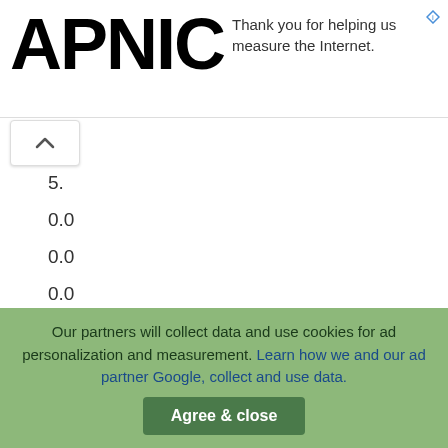APNIC
Thank you for helping us measure the Internet.
5.
0.0
0.0
0.0
−5.
−5.
−5.
−10. 1.5 2.
Our partners will collect data and use cookies for ad personalization and measurement. Learn how we and our ad partner Google, collect and use data. Agree & close